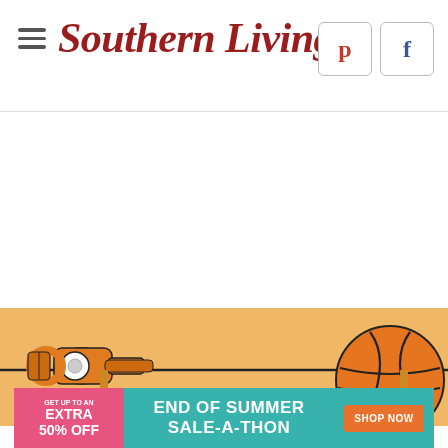Southern Living
[Figure (illustration): Basketball and whistle illustration on an orange basketball court background]
[Figure (infographic): End of Summer Sale-A-Thon advertisement banner: GET UP TO AN EXTRA 50% OFF | END OF SUMMER SALE-A-THON | SHOP NOW button]